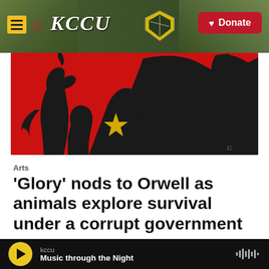KCCU — Donate
[Figure (illustration): Animal Farm style illustration: black silhouettes of animals on a bright red background, with a yellow star visible. References Orwell's Animal Farm.]
Arts
'Glory' nods to Orwell as animals explore survival under a corrupt government
Ilana Masad, March 10, 2022
kccu — Music through the Night